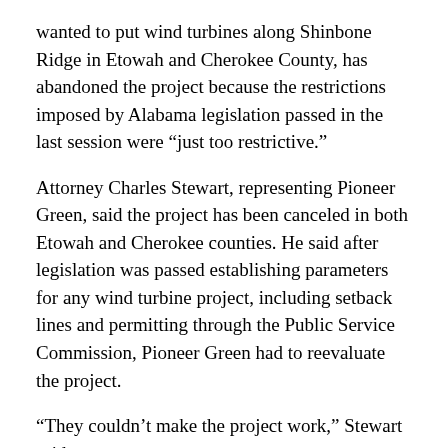wanted to put wind turbines along Shinbone Ridge in Etowah and Cherokee County, has abandoned the project because the restrictions imposed by Alabama legislation passed in the last session were “just too restrictive.”
Attorney Charles Stewart, representing Pioneer Green, said the project has been canceled in both Etowah and Cherokee counties. He said after legislation was passed establishing parameters for any wind turbine project, including setback lines and permitting through the Public Service Commission, Pioneer Green had to reevaluate the project.
“They couldn’t make the project work,” Stewart said.
The setback lines – establishing distance between the proposed turbines and other structures or property lines – were “too onerous” for the project to be successful, he said, as was having the PSC as the permitting agency and the time that would require.
Property owners in Etowah and Cherokee counties filed